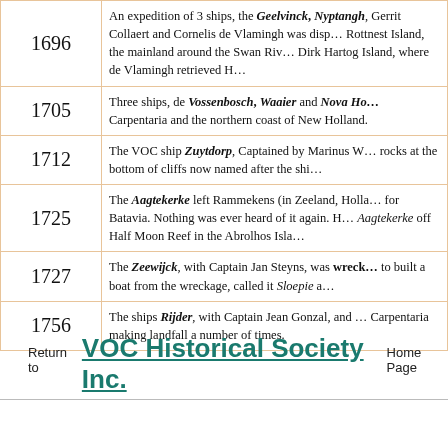| Year | Description |
| --- | --- |
| 1696 | An expedition of 3 ships, the Geelvinck, Nyptangh, Gerrit Collaert and Cornelis de Vlamingh was dispatched to Rottnest Island, the mainland around the Swan River and Dirk Hartog Island, where de Vlamingh retrieved H... |
| 1705 | Three ships, de Vossenbosch, Waaier and Nova Ho... Carpentaria and the northern coast of New Holland. |
| 1712 | The VOC ship Zuytdorp, Captained by Marinus W... rocks at the bottom of cliffs now named after the shi... |
| 1725 | The Aagtekerke left Rammekens (in Zeeland, Holla... for Batavia. Nothing was ever heard of it again. H... Aagtekerke off Half Moon Reef in the Abrolhos Isla... |
| 1727 | The Zeewijck, with Captain Jan Steyns, was wrecke... to built a boat from the wreckage, called it Sloepie a... |
| 1756 | The ships Rijder, with Captain Jean Gonzal, and ... Carpentaria making landfall a number of times. |
Return to  VOC Historical Society Inc.  Home Page